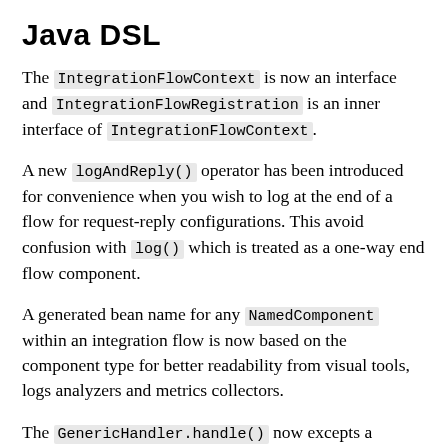Java DSL
The IntegrationFlowContext is now an interface and IntegrationFlowRegistration is an inner interface of IntegrationFlowContext.
A new logAndReply() operator has been introduced for convenience when you wish to log at the end of a flow for request-reply configurations. This avoid confusion with log() which is treated as a one-way end flow component.
A generated bean name for any NamedComponent within an integration flow is now based on the component type for better readability from visual tools, logs analyzers and metrics collectors.
The GenericHandler.handle() now excepts a MessageHeaders type for the second argument.